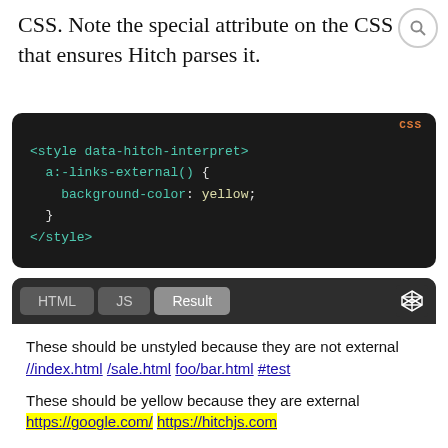CSS. Note the special attribute on the CSS that ensures Hitch parses it.
[Figure (screenshot): Dark-themed code block showing CSS snippet: <style data-hitch-interpret> with a:-links-external() { background-color: yellow; } </style> with orange CSS label]
[Figure (screenshot): CodePen-style result panel with HTML/JS/Result tabs. Result shows: 'These should be unstyled because they are not external' with links //index.html /sale.html foo/bar.html #test, and 'These should be yellow because they are external' with links https://google.com/ https://hitchjs.com highlighted in yellow]